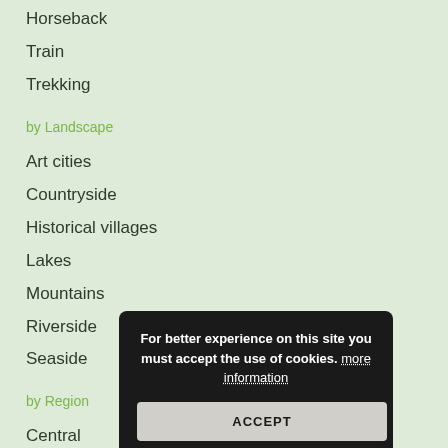Horseback
Train
Trekking
by Landscape
Art cities
Countryside
Historical villages
Lakes
Mountains
Riverside
Seaside
by Region
Central
Lazio
Marche
For better experience on this site you must accept the use of cookies. more information ACCEPT